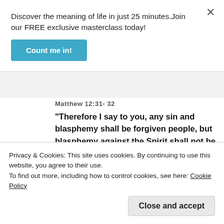Discover the meaning of life in just 25 minutes.Join our FREE exclusive masterclass today!
Count me in!
Matthew 12:31-32
“Therefore I say to you, any sin and blasphemy shall be forgiven people, but blasphemy against the Spirit shall not be forgiven. Whoever speaks a word against the Son of Man, it shall be forgiven him; but whoever speaks against the Holy Spirit, it shall not be forgiven him, either in this age or in
Privacy & Cookies: This site uses cookies. By continuing to use this website, you agree to their use.
To find out more, including how to control cookies, see here: Cookie Policy
Close and accept